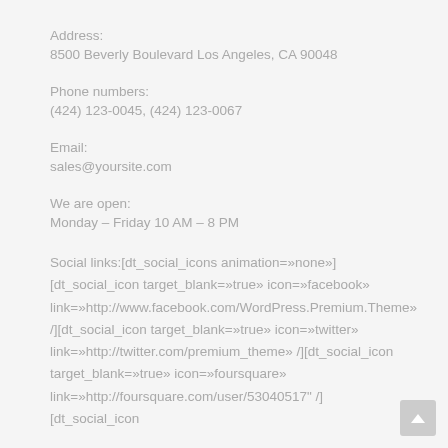Address:
8500 Beverly Boulevard Los Angeles, CA 90048
Phone numbers:
(424) 123-0045, (424) 123-0067
Email:
sales@yoursite.com
We are open:
Monday – Friday 10 AM – 8 PM
Social links:[dt_social_icons animation=»none»][dt_social_icon target_blank=»true» icon=»facebook» link=»http://www.facebook.com/WordPress.Premium.Theme» /][dt_social_icon target_blank=»true» icon=»twitter» link=»http://twitter.com/premium_theme» /][dt_social_icon target_blank=»true» icon=»foursquare» link=»http://foursquare.com/user/53040517" /][dt_social_icon